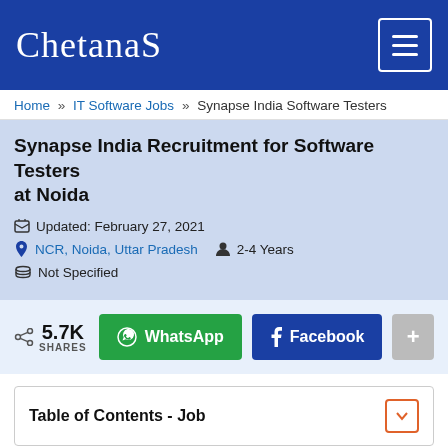ChetanaS
Home » IT Software Jobs » Synapse India Software Testers
Synapse India Recruitment for Software Testers at Noida
Updated: February 27, 2021
NCR, Noida, Uttar Pradesh   2-4 Years
Not Specified
5.7K SHARES  WhatsApp  Facebook  +
Table of Contents - Job
Job Positions
Software Tester (Automation Testing)